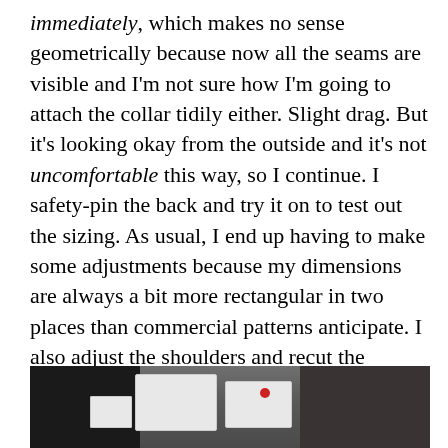immediately, which makes no sense geometrically because now all the seams are visible and I'm not sure how I'm going to attach the collar tidily either. Slight drag. But it's looking okay from the outside and it's not uncomfortable this way, so I continue. I safety-pin the back and try it on to test out the sizing. As usual, I end up having to make some adjustments because my dimensions are always a bit more rectangular in two places than commercial patterns anticipate. I also adjust the shoulders and recut the armholes and neckhole. Still, no harm done. So far so good. Onwards to the peplum!
[Figure (photo): A partially visible photograph at the bottom of the page showing sewing or craft materials on a surface, including white paper/fabric pieces and a red dot visible, on a dark background.]